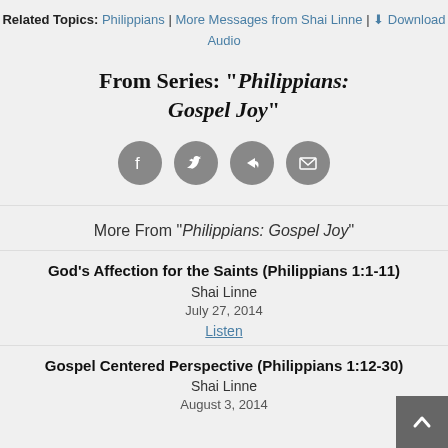Related Topics: Philippians | More Messages from Shai Linne | Download Audio
From Series: "Philippians: Gospel Joy"
[Figure (illustration): Four circular social sharing icons: Facebook, Twitter, Share/Forward, Email — dark grey circles with white icons]
More From "Philippians: Gospel Joy"
God's Affection for the Saints (Philippians 1:1-11)
Shai Linne
July 27, 2014
Listen
Gospel Centered Perspective (Philippians 1:12-30)
Shai Linne
August 3, 2014